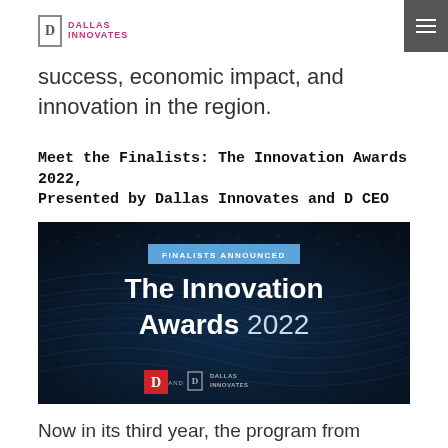Dallas Innovates
success, economic impact, and innovation in the region.
Meet the Finalists: The Innovation Awards 2022, Presented by Dallas Innovates and D CEO
[Figure (photo): Promotional banner image for The Innovation Awards 2022, presented by Dallas Innovates and D CEO. Dark blue digital wave background with text 'FINALISTS ANNOUNCED' in a blue banner, 'The Innovation Awards 2022' in large white text, and logos for D CEO and Dallas Innovates at the bottom.]
Now in its third year, the program from Dallas